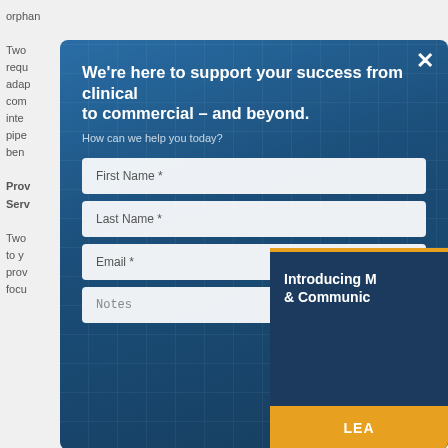orphan

Two
requ
adap
com
inte
pipe
ben

Prov
Serv

Two
to y
prov
focu
[Figure (screenshot): Modal dialog overlay on a blue gradient background with a contact form. Contains fields for First Name, Last Name, Email, Notes, and a side card introducing M & Communic with a LEARN MORE button.]
We're here to support your success from clinical to commercial – and beyond.
How can we help you today?
First Name *
Last Name *
Email *
Notes
Introducing M
& Communic
LEA